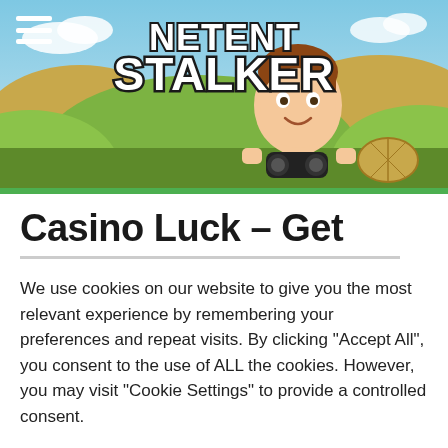[Figure (illustration): NetEnt Stalker website header banner showing a cartoon boy with binoculars peeking over a fence with rolling green hills and hay bale in background, with 'NETENT STALKER' logo text in white with black outline]
Casino Luck – Get
We use cookies on our website to give you the most relevant experience by remembering your preferences and repeat visits. By clicking "Accept All", you consent to the use of ALL the cookies. However, you may visit "Cookie Settings" to provide a controlled consent.
Cookie Settings | Accept All